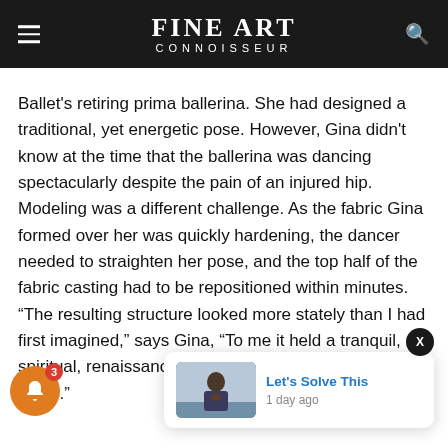Fine Art Connoisseur
Ballet's retiring prima ballerina. She had designed a traditional, yet energetic pose. However, Gina didn't know at the time that the ballerina was dancing spectacularly despite the pain of an injured hip. Modeling was a different challenge. As the fabric Gina formed over her was quickly hardening, the dancer needed to straighten her pose, and the top half of the fabric casting had to be repositioned within minutes. “The resulting structure looked more stately than I had first imagined,” says Gina, “To me it held a tranquil, spiritual, renaissance look, not that of a dancer on stage.”
When Gina beg... ed for the Duomos burnt sienna color and washed it over the entire structure. “As I wiped this paint off the
[Figure (photo): Notification popup card showing a man in a suit with 'Let's Solve This' title and '1 day ago' timestamp. Also shows a notification bell icon with badge showing 3, and a close button.]